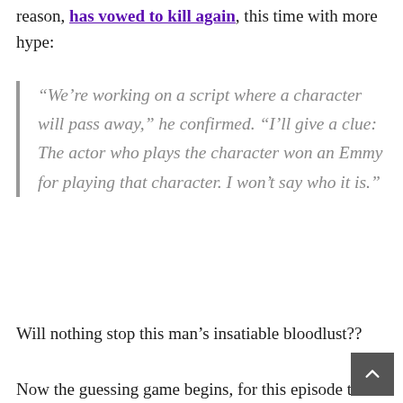reason, has vowed to kill again, this time with more hype:
“We’re working on a script where a character will pass away,” he confirmed. “I’ll give a clue: The actor who plays the character won an Emmy for playing that character. I won’t say who it is.”
Will nothing stop this man’s insatiable bloodlust??
Now the guessing game begins, for this episode that likely won’t air for another year! The Emmy clue doesn’t really narrow things down, because five of the six main voice actors have won Emmys for their performances. That would mean Harry Shearer’s